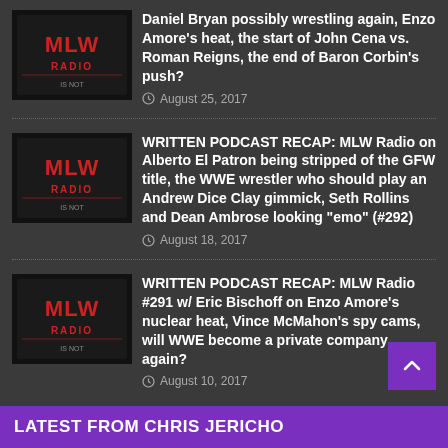[Figure (logo): MLW Radio logo thumbnail]
Daniel Bryan possibly wrestling again, Enzo Amore's heat, the start of John Cena vs. Roman Reigns, the end of Baron Corbin's push?
August 25, 2017
[Figure (logo): MLW Radio logo thumbnail]
WRITTEN PODCAST RECAP: MLW Radio on Alberto El Patron being stripped of the GFW title, the WWE wrestler who should play an Andrew Dice Clay gimmick, Seth Rollins and Dean Ambrose looking "emo" (#292)
August 18, 2017
[Figure (logo): MLW Radio logo thumbnail]
WRITTEN PODCAST RECAP: MLW Radio #291 w/ Eric Bischoff on Enzo Amore's nuclear heat, Vince McMahon's spy cams, will WWE become a private company again?
August 10, 2017
LATEST FROM CHRIS JERICHO